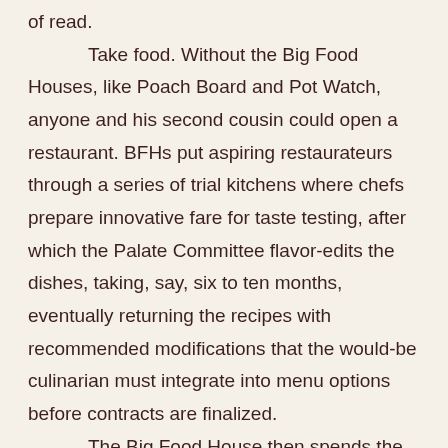of read.  Take food.  Without the Big Food Houses, like Poach Board and Pot Watch, anyone and his second cousin could open a restaurant.  BFHs put aspiring restaurateurs through a series of trial kitchens where chefs prepare innovative fare for taste testing, after which the Palate Committee flavor-edits the dishes, taking, say, six to ten months, eventually returning the recipes with recommended modifications that the would-be culinarian must integrate into menu options before contracts are finalized.  The Big Food House then spends the next year and a half designing and building the restaurant, and, once ready for business, collects all restaurant proceeds, forwarding to the owner maybe eight percent of the profits in quarterly installments.